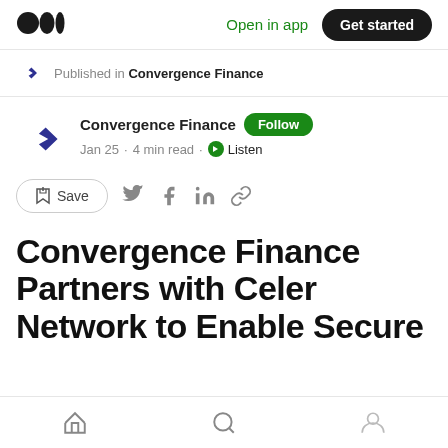Open in app  Get started
Published in Convergence Finance
Convergence Finance  Follow
Jan 25 · 4 min read · Listen
Save
Convergence Finance Partners with Celer Network to Enable Secure